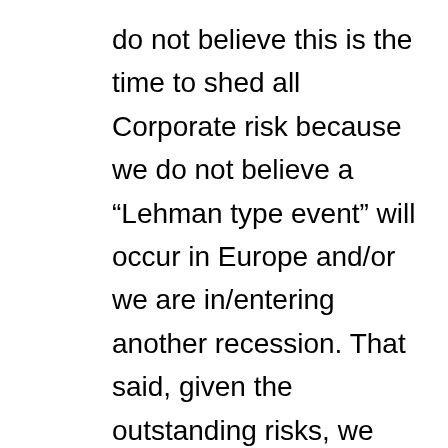do not believe this is the time to shed all Corporate risk because we do not believe a “Lehman type event” will occur in Europe and/or we are in/entering another recession. That said, given the outstanding risks, we believe that investors need to be avoiding: (1) financials in the Euro zone, (2) infrastructure companies in the European periphery, (3) companies with material refinancing needs over the near term, weaker market positions or management and/or a reliance on lower income consumers or housing, and/or (4) smaller, less diversified companies in cyclical industries. Also, we have favored the new